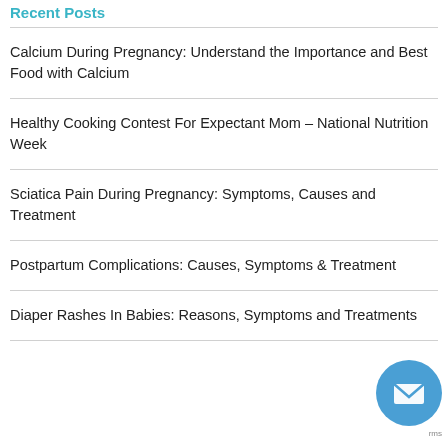Recent Posts
Calcium During Pregnancy: Understand the Importance and Best Food with Calcium
Healthy Cooking Contest For Expectant Mom – National Nutrition Week
Sciatica Pain During Pregnancy: Symptoms, Causes and Treatment
Postpartum Complications: Causes, Symptoms & Treatment
Diaper Rashes In Babies: Reasons, Symptoms and Treatments